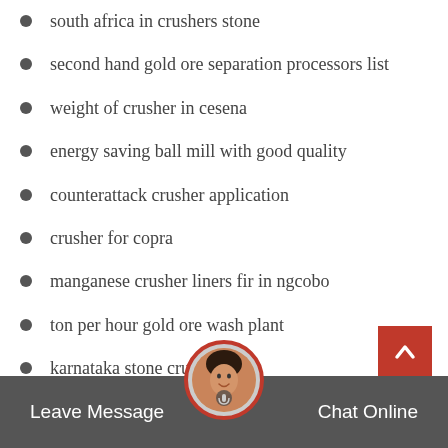south africa in crushers stone
second hand gold ore separation processors list
weight of crusher in cesena
energy saving ball mill with good quality
counterattack crusher application
crusher for copra
manganese crusher liners fir in ngcobo
ton per hour gold ore wash plant
karnataka stone crusher act
pietermaritzburg 10 lb ball mills